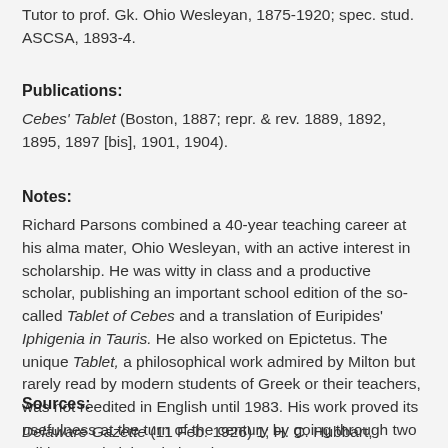Tutor to prof. Gk. Ohio Wesleyan, 1875-1920; spec. stud. ASCSA, 1893-4.
Publications:
Cebes' Tablet (Boston, 1887; repr. & rev. 1889, 1892, 1895, 1897 [bis], 1901, 1904).
Notes:
Richard Parsons combined a 40-year teaching career at his alma mater, Ohio Wesleyan, with an active interest in scholarship. He was witty in class and a productive scholar, publishing an important school edition of the so-called Tablet of Cebes and a translation of Euripides' Iphigenia in Tauris. He also worked on Epictetus. The unique Tablet, a philosophical work admired by Milton but rarely read by modern students of Greek or their teachers, was not reedited in English until 1983. His work proved its usefulness at the turn of the century by going through two editions and eight printings by 1904.
Sources:
Delaware Gazette (11 Feb. 1926) 1; H. C. Hubbart,